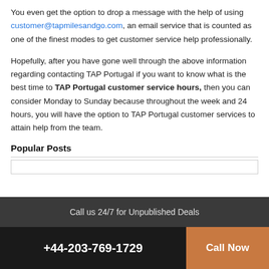You even get the option to drop a message with the help of using customer@tapmilesandgo.com, an email service that is counted as one of the finest modes to get customer service help professionally.
Hopefully, after you have gone well through the above information regarding contacting TAP Portugal if you want to know what is the best time to TAP Portugal customer service hours, then you can consider Monday to Sunday because throughout the week and 24 hours, you will have the option to TAP Portugal customer services to attain help from the team.
Popular Posts
Call us 24/7 for Unpublished Deals | +44-203-769-1729 | Call Now